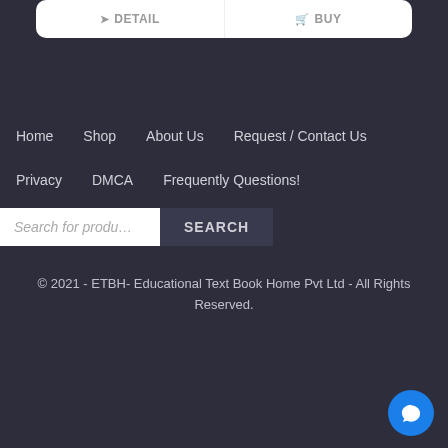[Figure (screenshot): Top card with DETAIL and BUY buttons]
Home
Shop
About Us
Request / Contact Us
Privacy
DMCA
Frequently Questions!
Search for produ
SEARCH
© 2021 - ETBH- Educational Text Book Home Pvt Ltd - All Rights Reserved.